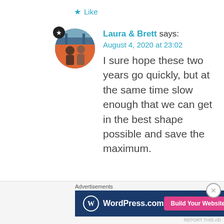★ Like
[Figure (photo): Circular avatar photo of Laura & Brett, a couple, with a star badge overlay in the top-left corner]
Laura & Brett says:
August 4, 2020 at 23:02
I sure hope these two years go quickly, but at the same time slow enough that we can get in the best shape possible and save the maximum.
Advertisements
[Figure (screenshot): WordPress.com advertisement banner with logo and 'Build Your Website' button]